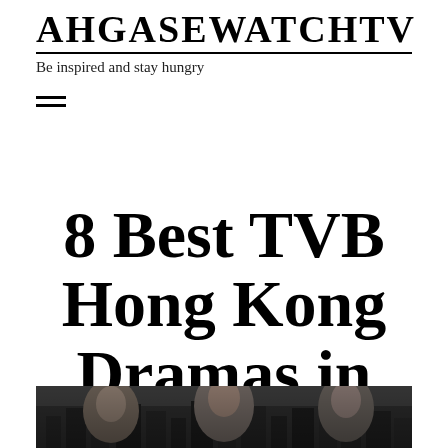AHGASEWATCHTV
Be inspired and stay hungry
8 Best TVB Hong Kong Dramas in 2020
[Figure (photo): A photo showing faces of TV drama actors/characters, dark toned, at the bottom of the page]